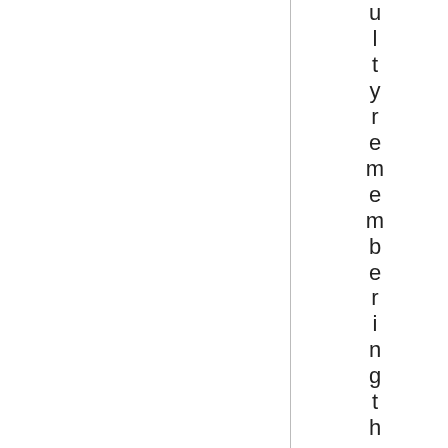ulty remembering them, take a moment